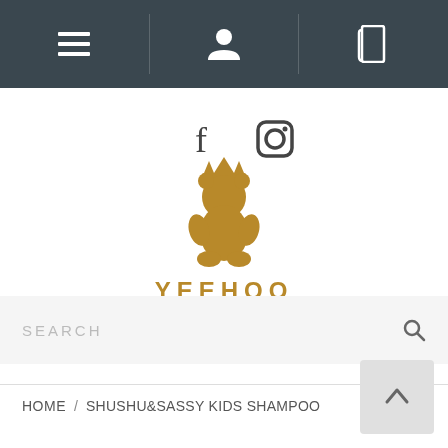Navigation bar with menu, profile, and book icons
[Figure (logo): Facebook and Instagram social media icons]
[Figure (logo): YEEHOO baby logo - golden bear with crown wearing logo above text YEEHOO baby in gold]
SEARCH
HOME / SHUSHU&SASSY KIDS SHAMPOO